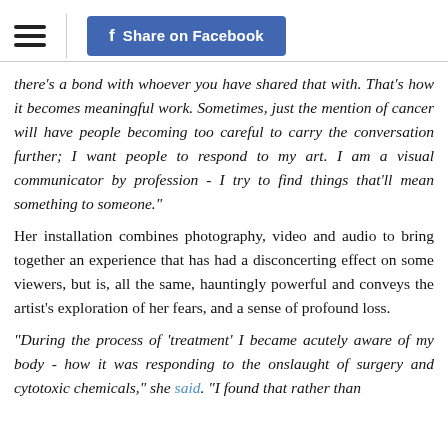Share on Facebook
there’s a bond with whoever you have shared that with. That’s how it becomes meaningful work. Sometimes, just the mention of cancer will have people becoming too careful to carry the conversation further; I want people to respond to my art. I am a visual communicator by profession - I try to find things that’ll mean something to someone.”
Her installation combines photography, video and audio to bring together an experience that has had a disconcerting effect on some viewers, but is, all the same, hauntingly powerful and conveys the artist’s exploration of her fears, and a sense of profound loss.
“During the process of ‘treatment’ I became acutely aware of my body - how it was responding to the onslaught of surgery and cytotoxic chemicals,” she said. “I found that rather than